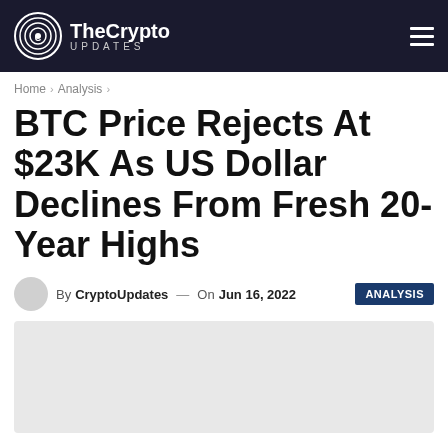TheCrypto UPDATES
Home > Analysis >
BTC Price Rejects At $23K As US Dollar Declines From Fresh 20-Year Highs
By CryptoUpdates — On Jun 16, 2022 ANALYSIS
[Figure (photo): Article featured image placeholder (light gray background)]